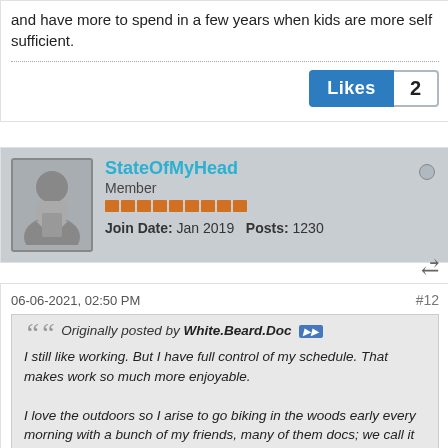and have more to spend in a few years when kids are more self sufficient.
Likes 2
StateOfMyHead
Member
Join Date: Jan 2019  Posts: 1230
06-06-2021, 02:50 PM
#12
Originally posted by White.Beard.Doc
I still like working. But I have full control of my schedule. That makes work so much more enjoyable.

I love the outdoors so I arise to go biking in the woods early every morning with a bunch of my friends, many of them docs; we call it morning rounds. I also go sailing and skiing frequently, depending on the season. Well, sometimes even not depending on the season. I have been to the Andes